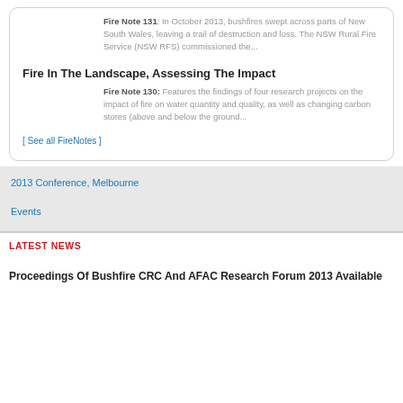Fire Note 131: In October 2013, bushfires swept across parts of New South Wales, leaving a trail of destruction and loss. The NSW Rural Fire Service (NSW RFS) commissioned the...
Fire In The Landscape, Assessing The Impact
Fire Note 130: Features the findings of four research projects on the impact of fire on water quantity and quality, as well as changing carbon stores (above and below the ground...
[ See all FireNotes ]
2013 Conference, Melbourne
Events
LATEST NEWS
Proceedings Of Bushfire CRC And AFAC Research Forum 2013 Available